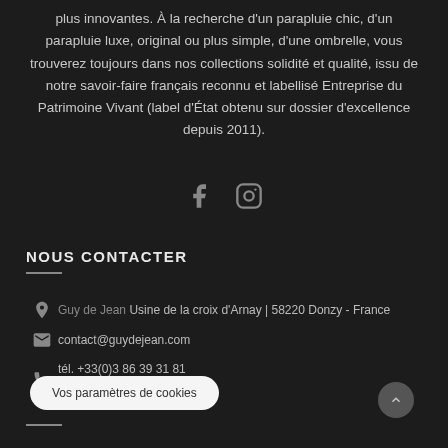plus innovantes. À la recherche d'un parapluie chic, d'un parapluie luxe, original ou plus simple, d'une ombrelle, vous trouverez toujours dans nos collections solidité et qualité, issu de notre savoir-faire français reconnu et labellisé Entreprise du Patrimoine Vivant (label d'État obtenu sur dossier d'excellence depuis 2011).
[Figure (illustration): Facebook and Instagram social media icons in gray]
NOUS CONTACTER
Guy de Jean Usine de la croix d'Arnay | 58220 Donzy - France
contact@guydejean.com
tél. +33(0)3 86 39 31 81
Fax: +33 (0)3 86 39 30 47
Vos paramètres de cookies